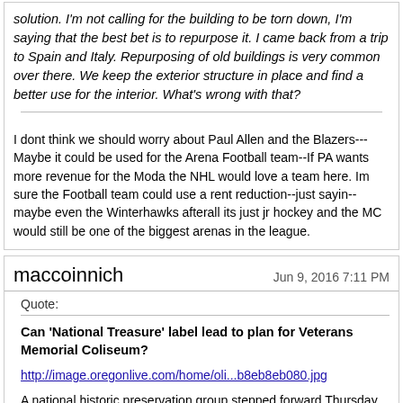solution. I'm not calling for the building to be torn down, I'm saying that the best bet is to repurpose it. I came back from a trip to Spain and Italy. Repurposing of old buildings is very common over there. We keep the exterior structure in place and find a better use for the interior. What's wrong with that?
I dont think we should worry about Paul Allen and the Blazers---Maybe it could be used for the Arena Football team--If PA wants more revenue for the Moda the NHL would love a team here. Im sure the Football team could use a rent reduction--just sayin--maybe even the Winterhawks afterall its just jr hockey and the MC would still be one of the biggest arenas in the league.
maccoinnich
Jun 9, 2016 7:11 PM
Quote:
Can 'National Treasure' label lead to plan for Veterans Memorial Coliseum?
http://image.oregonlive.com/home/oli...b8eb8eb080.jpg
A national historic preservation group stepped forward Thursday to help Portland officials attempt to solve a perpetually unanswered puzzle: What should be done with Veterans Memorial Coliseum?